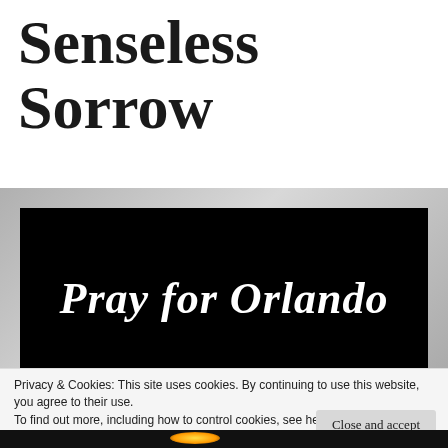Senseless Sorrow
[Figure (photo): Black image with white cursive text reading 'Pray for Orlando', displayed inside a silver/gray bordered frame]
Privacy & Cookies: This site uses cookies. By continuing to use this website, you agree to their use.
To find out more, including how to control cookies, see here: Cookie Policy
Close and accept